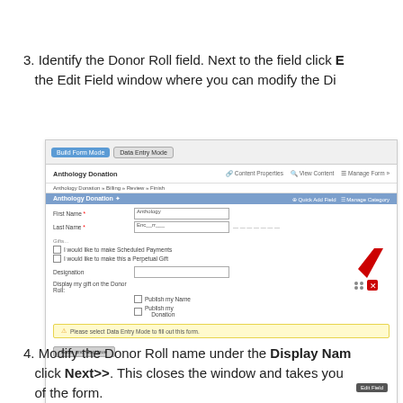3. Identify the Donor Roll field. Next to the field click E... the Edit Field window where you can modify the Di...
[Figure (screenshot): Screenshot of a web form builder showing Build Form Mode and Data Entry Mode tabs, an Anthology Donation form with fields for First Name, Last Name, checkboxes for Scheduled Payments and Perpetual Gift, Designation, and Display my gift on the Donor Roll with Publish my Name and Publish my Donation options. A red arrow points to an Edit Field popup button in the lower right of the form area. A yellow warning bar reads 'Please select Data Entry Mode to fill out this form.' and a Save and Continue button is shown.]
4. Modify the Donor Roll name under the Display Nam... click Next>>. This closes the window and takes you... of the form.